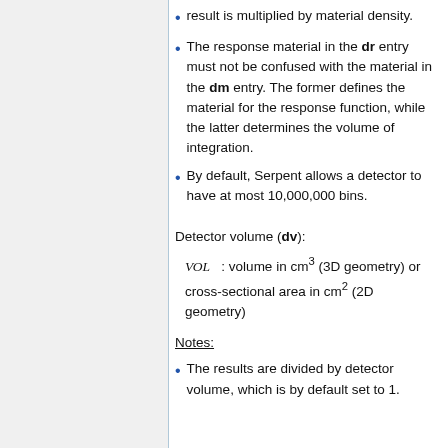result is multiplied by material density.
The response material in the dr entry must not be confused with the material in the dm entry. The former defines the material for the response function, while the latter determines the volume of integration.
By default, Serpent allows a detector to have at most 10,000,000 bins.
Detector volume (dv):
VOL : volume in cm3 (3D geometry) or cross-sectional area in cm2 (2D geometry)
Notes:
The results are divided by detector volume, which is by default set to 1.